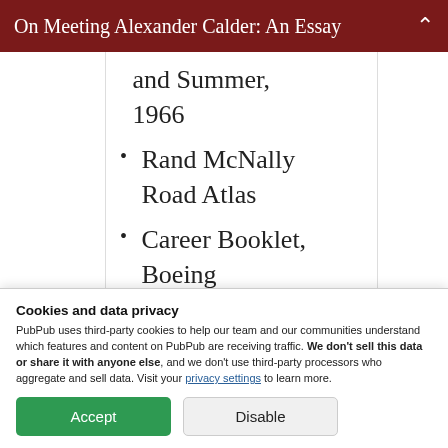On Meeting Alexander Calder: An Essay
and Summer, 1966
Rand McNally Road Atlas
Career Booklet, Boeing
Annual Report, U.S. Steel
Cookies and data privacy
PubPub uses third-party cookies to help our team and our communities understand which features and content on PubPub are receiving traffic. We don't sell this data or share it with anyone else, and we don't use third-party processors who aggregate and sell data. Visit your privacy settings to learn more.